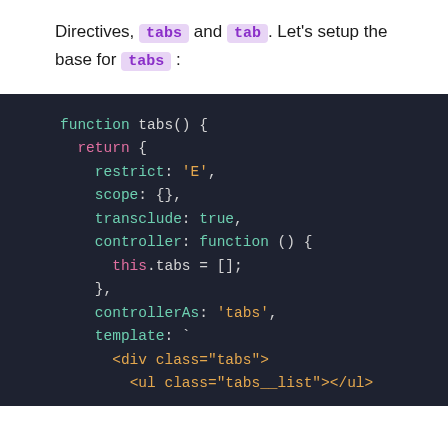Directives, tabs and tab. Let's setup the base for tabs:
[Figure (screenshot): Dark-themed code editor showing AngularJS directive definition for 'tabs' function with properties: restrict, scope, transclude, controller (with this.tabs=[]), controllerAs, and template containing HTML div and ul elements.]